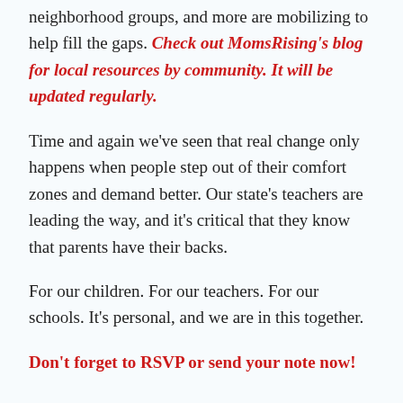neighborhood groups, and more are mobilizing to help fill the gaps. Check out MomsRising's blog for local resources by community. It will be updated regularly.
Time and again we've seen that real change only happens when people step out of their comfort zones and demand better. Our state's teachers are leading the way, and it's critical that they know that parents have their backs.
For our children. For our teachers. For our schools. It's personal, and we are in this together.
Don't forget to RSVP or send your note now!